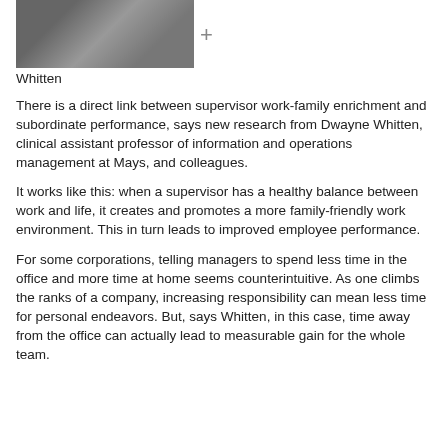[Figure (photo): Partial photo of a person, likely Dwayne Whitten, with a plus/add icon beside it]
Whitten
There is a direct link between supervisor work-family enrichment and subordinate performance, says new research from Dwayne Whitten, clinical assistant professor of information and operations management at Mays, and colleagues.
It works like this: when a supervisor has a healthy balance between work and life, it creates and promotes a more family-friendly work environment. This in turn leads to improved employee performance.
For some corporations, telling managers to spend less time in the office and more time at home seems counterintuitive. As one climbs the ranks of a company, increasing responsibility can mean less time for personal endeavors. But, says Whitten, in this case, time away from the office can actually lead to measurable gain for the whole team.